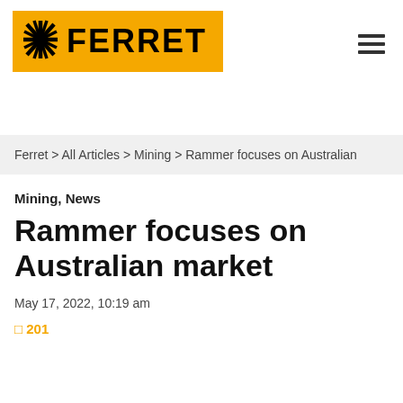FERRET
Ferret > All Articles > Mining > Rammer focuses on Australian
Mining, News
Rammer focuses on Australian market
May 17, 2022, 10:19 am
201